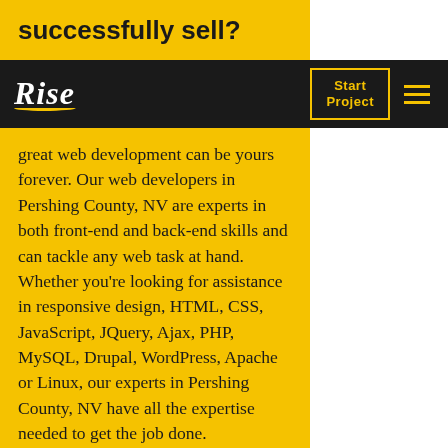successfully sell?
Rise — Start Project navigation bar
great web development can be yours forever. Our web developers in Pershing County, NV are experts in both front-end and back-end skills and can tackle any web task at hand. Whether you're looking for assistance in responsive design, HTML, CSS, JavaScript, JQuery, Ajax, PHP, MySQL, Drupal, WordPress, Apache or Linux, our experts in Pershing County, NV have all the expertise needed to get the job done. Smooth-functioning websites are a must in this day and age and we can help develop any custom functionality you require on your website.